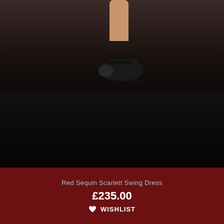[Figure (photo): Bottom portion of a fashion model wearing black high-heel sandals, photographed against a dark studio background]
Red Sequin Scarlett Swing Dress
£235.00
WISHLIST